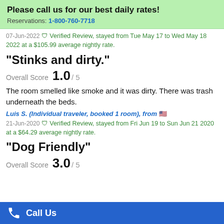Please call us for our best daily rates! Reservations: 1-800-760-7718
07-Jun-2022 Verified Review, stayed from Tue May 17 to Wed May 18 2022 at a $105.99 average nightly rate.
"Stinks and dirty."
Overall Score 1.0 / 5
The room smelled like smoke and it was dirty. There was trash underneath the beds.
Luis S. (Individual traveler, booked 1 room), from 🇺🇸
21-Jun-2020 Verified Review, stayed from Fri Jun 19 to Sun Jun 21 2020 at a $64.29 average nightly rate.
"Dog Friendly"
Call Us